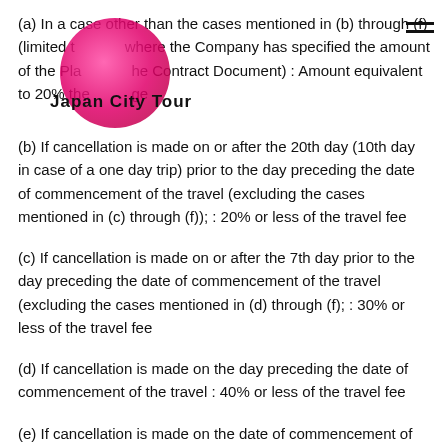(a) In a case other than the cases mentioned in (b) through (f) (limited to where the Company has specified the amount of the Plan in the Contract Document) : Amount equivalent to 20% theerage
(b) If cancellation is made on or after the 20th day (10th day in case of a one day trip) prior to the day preceding the date of commencement of the travel (excluding the cases mentioned in (c) through (f)); : 20% or less of the travel fee
(c) If cancellation is made on or after the 7th day prior to the day preceding the date of commencement of the travel (excluding the cases mentioned in (d) through (f); : 30% or less of the travel fee
(d) If cancellation is made on the day preceding the date of commencement of the travel : 40% or less of the travel fee
(e) If cancellation is made on the date of commencement of the travel (excluding the case mentioned in (f); : 50% or less of the travel fee